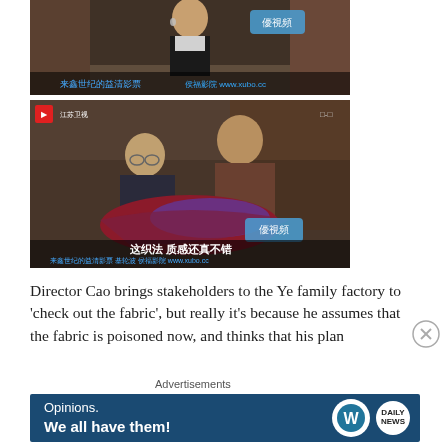[Figure (screenshot): Screenshot of a Chinese TV show showing a young woman in a black and white outfit, with Chinese subtitles and watermark www.xubo.cc]
[Figure (screenshot): Screenshot of a Chinese TV show (江苏卫视) showing two men examining red and purple fabric, with Chinese subtitles '这织法 质感还真不错' and watermark www.xubo.cc]
Director Cao brings stakeholders to the Ye family factory to 'check out the fabric', but really it's because he assumes that the fabric is poisoned now, and thinks that his plan
Advertisements
[Figure (other): Advertisement banner: Opinions. We all have them! with WordPress and Daily News logos on dark blue background]